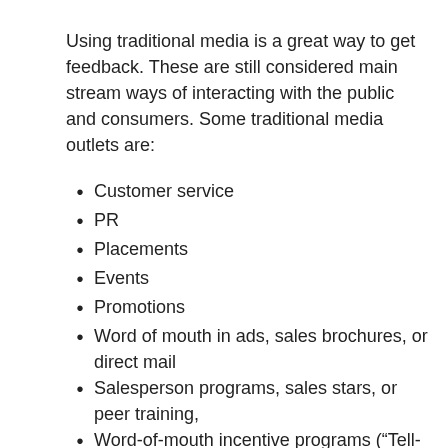Using traditional media is a great way to get feedback. These are still considered main stream ways of interacting with the public and consumers. Some traditional media outlets are:
Customer service
PR
Placements
Events
Promotions
Word of mouth in ads, sales brochures, or direct mail
Salesperson programs, sales stars, or peer training,
Word-of-mouth incentive programs (“Tell-a-friend” programs)
Customer gifts they can share with their